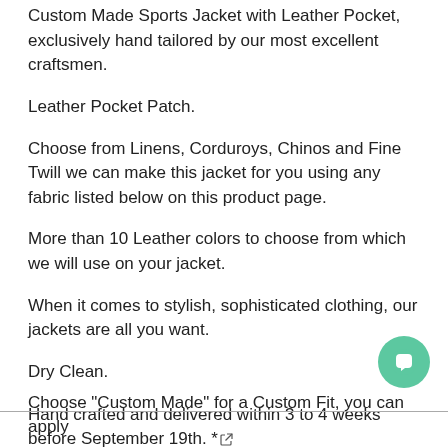Custom Made Sports Jacket with Leather Pocket, exclusively hand tailored by our most excellent craftsmen.
Leather Pocket Patch.
Choose from Linens, Corduroys, Chinos and Fine Twill we can make this jacket for you using any fabric listed below on this product page.
More than 10 Leather colors to choose from which we will use on your jacket.
When it comes to stylish, sophisticated clothing, our jackets are all you want.
Dry Clean.
Hand crafted and delivered within 3 to 4 weeks before September 19th. *
Custom Made [sewing machine icon]
Choose "Custom Made" for a Custom Fit, you can apply